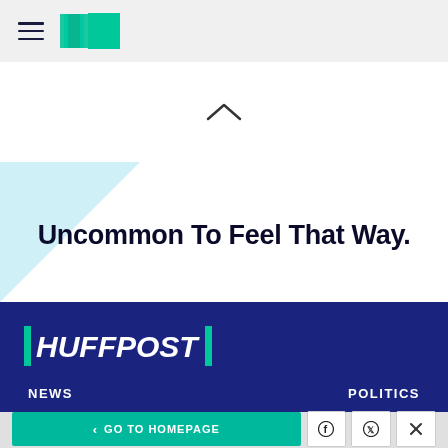HuffPost navigation bar with hamburger menu and logo
^
Uncommon To Feel That Way.
[Figure (logo): HuffPost logo in white text on dark navy background with green left bar and right bar]
NEWS    POLITICS
< GO TO HOMEPAGE